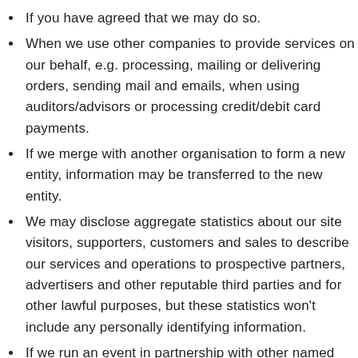If you have agreed that we may do so.
When we use other companies to provide services on our behalf, e.g. processing, mailing or delivering orders, sending mail and emails, when using auditors/advisors or processing credit/debit card payments.
If we merge with another organisation to form a new entity, information may be transferred to the new entity.
We may disclose aggregate statistics about our site visitors, supporters, customers and sales to describe our services and operations to prospective partners, advertisers and other reputable third parties and for other lawful purposes, but these statistics won't include any personally identifying information.
If we run an event in partnership with other named organisations your details may need to be shared. We will be very clear what will happen to your data when you